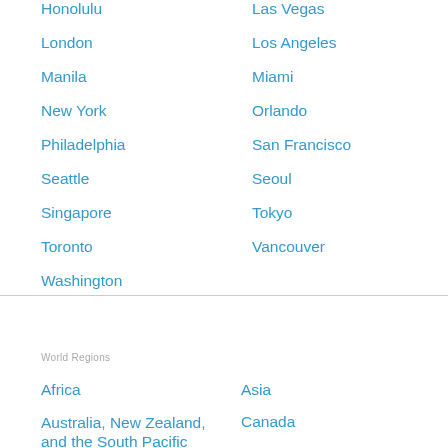Honolulu
Las Vegas
London
Los Angeles
Manila
Miami
New York
Orlando
Philadelphia
San Francisco
Seattle
Seoul
Singapore
Tokyo
Toronto
Vancouver
Washington
World Regions
Africa
Asia
Australia, New Zealand, and the South Pacific
Canada
Caribbean